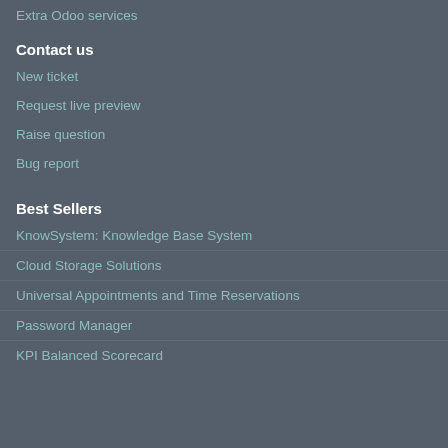Extra Odoo services
Contact us
New ticket
Request live preview
Raise question
Bug report
Best Sellers
KnowSystem: Knowledge Base System
Cloud Storage Solutions
Universal Appointments and Time Reservations
Password Manager
KPI Balanced Scorecard